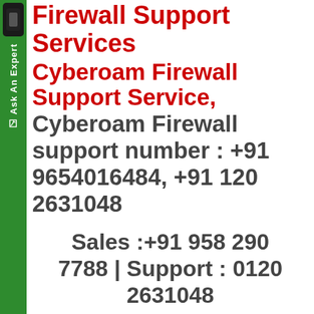Firewall Support Services
Cyberoam Firewall Support Service,
Cyberoam Firewall support number : +91 9654016484, +91 120 2631048
Sales :+91 958 290 7788 | Support : 0120 2631048